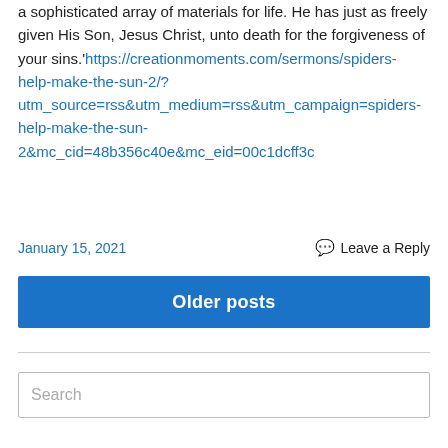a sophisticated array of materials for life. He has just as freely given His Son, Jesus Christ, unto death for the forgiveness of your sins.'https://creationmoments.com/sermons/spiders-help-make-the-sun-2/?utm_source=rss&utm_medium=rss&utm_campaign=spiders-help-make-the-sun-2&mc_cid=48b356c40e&mc_eid=00c1dcff3c
January 15, 2021
Leave a Reply
Older posts
Search